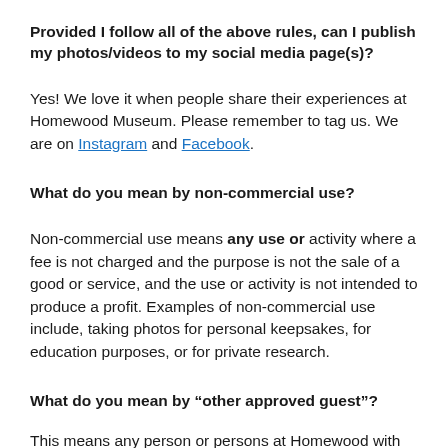Provided I follow all of the above rules, can I publish my photos/videos to my social media page(s)?
Yes! We love it when people share their experiences at Homewood Museum. Please remember to tag us. We are on Instagram and Facebook.
What do you mean by non-commercial use?
Non-commercial use means any use or activity where a fee is not charged and the purpose is not the sale of a good or service, and the use or activity is not intended to produce a profit. Examples of non-commercial use include, taking photos for personal keepsakes, for education purposes, or for private research.
What do you mean by “other approved guest”?
This means any person or persons at Homewood with